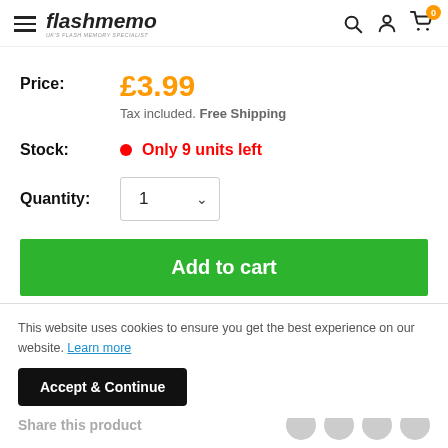flashmemo — UK's Flash Memory Specialist
Price: £3.99 Tax included. Free Shipping
Stock: Only 9 units left
Quantity: 1
Add to cart
This website uses cookies to ensure you get the best experience on our website. Learn more
Accept & Continue
Share this product